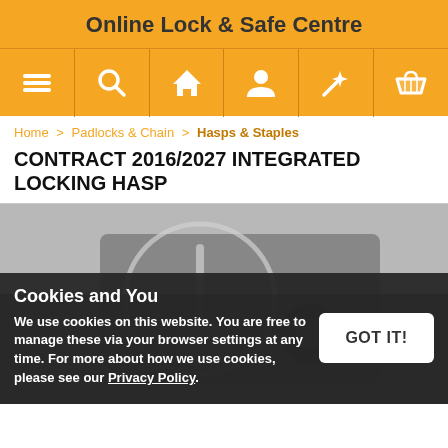Online Lock & Safe Centre
[Figure (screenshot): Navigation bar with 6 orange icons: hamburger menu, search, home, user, magic wand/star, shopping basket]
Home > Padlocks & Chain > Hasps & Staples
CONTRACT 2016/2027 INTEGRATED LOCKING HASP
[Figure (photo): Product photo area showing a blurred image of an integrated locking hasp against a dark background, with a placeholder circle-lock icon overlay]
Cookies and You
We use cookies on this website. You are free to manage these via your browser settings at any time. For more about how we use cookies, please see our Privacy Policy.
GOT IT!